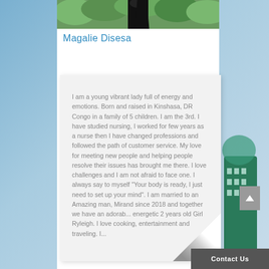[Figure (photo): Outdoor photo strip at top showing a person in dark clothing against green foliage background]
Magalie Disesa
I am a young vibrant lady full of energy and emotions. Born and raised in Kinshasa, DR Congo in a family of 5 children. I am the 3rd. I have studied nursing, I worked for few years as a nurse then I have changed professions and followed the path of customer service. My love for meeting new people and helping people resolve their issues has brought me there. I love challenges and I am not afraid to face one. I always say to myself "Your body is ready, I just need to set up your mind". I am married to an Amazing man, Mirand since 2018 and together we have an adorab... energetic 2 years old Girl Ryleigh. I love cooking, entertainment and traveling. I...